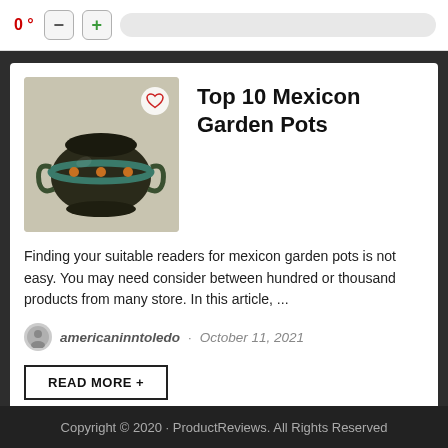0° - + [search bar]
Top 10 Mexicon Garden Pots
[Figure (photo): A decorative Mexican ceramic garden pot, dark with colorful painted designs, accompanied by a heart/favorite icon overlay]
Finding your suitable readers for mexicon garden pots is not easy. You may need consider between hundred or thousand products from many store. In this article, ...
americaninntoledo · October 11, 2021
READ MORE +
1  2  3  ...  53  Next Page »
Copyright © 2020 · ProductReviews. All Rights Reserved